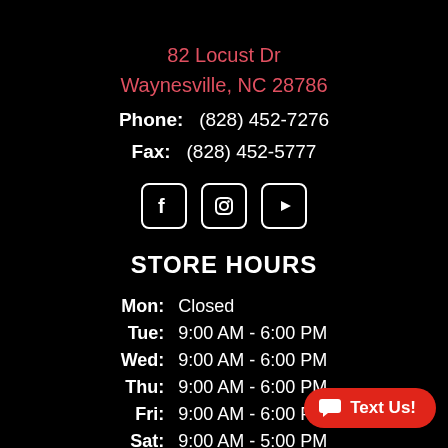82 Locust Dr
Waynesville, NC 28786
Phone:   (828) 452-7276
Fax:   (828) 452-5777
[Figure (illustration): Social media icons: Facebook, Instagram, YouTube]
STORE HOURS
Mon:  Closed
Tue:  9:00 AM - 6:00 PM
Wed:  9:00 AM - 6:00 PM
Thu:  9:00 AM - 6:00 PM
Fri:  9:00 AM - 6:00 PM
Sat:  9:00 AM - 5:00 PM
Sun:  Closed